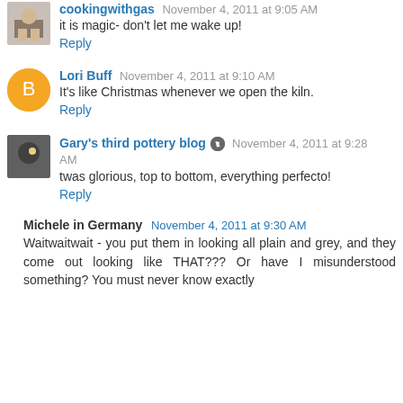cookingwithgas November 4, 2011 at 9:05 AM
it is magic- don't let me wake up!
Reply
Lori Buff November 4, 2011 at 9:10 AM
It's like Christmas whenever we open the kiln.
Reply
Gary's third pottery blog November 4, 2011 at 9:28 AM
twas glorious, top to bottom, everything perfecto!
Reply
Michele in Germany November 4, 2011 at 9:30 AM
Waitwaitwait - you put them in looking all plain and grey, and they come out looking like THAT??? Or have I misunderstood something? You must never know exactly